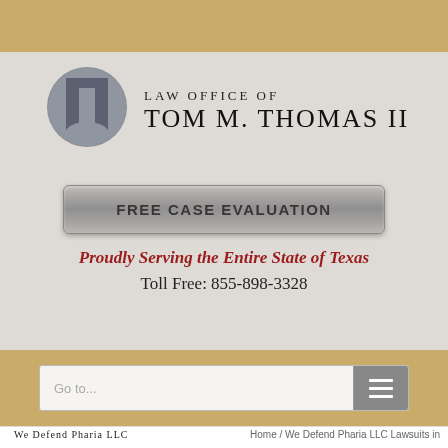[Figure (logo): Law Office of Tom M. Thomas II logo with circular T symbol in gray and firm name in serif uppercase text]
FREE CASE EVALUATION
Proudly Serving the Entire State of Texas
Toll Free: 855-898-3328
Go to...
We Defend Pharia LLC
Home / We Defend Pharia LLC Lawsuits in